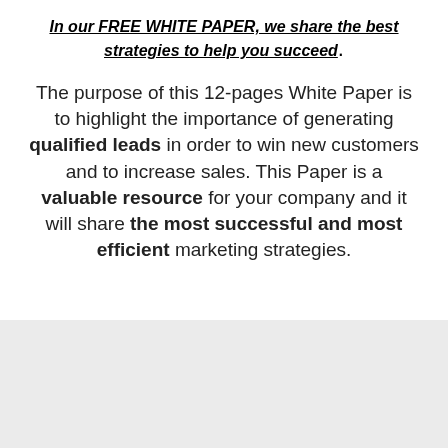In our FREE WHITE PAPER, we share the best strategies to help you succeed.
The purpose of this 12-pages White Paper is to highlight the importance of generating qualified leads in order to win new customers and to increase sales. This Paper is a valuable resource for your company and it will share the most successful and most efficient marketing strategies.